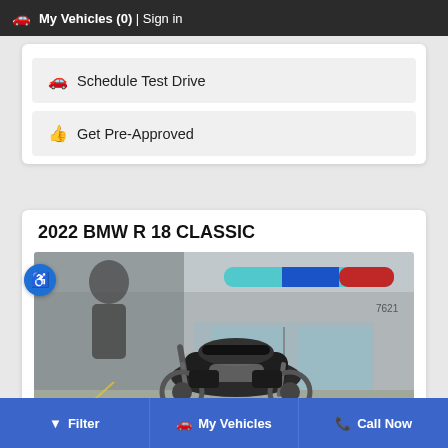🚗 My Vehicles (0) | Sign in
🚗 Schedule Test Drive
👍 Get Pre-Approved
2022 BMW R 18 CLASSIC
[Figure (photo): 2022 BMW R 18 Classic motorcycle parked in front of a BMW dealership storefront with a colorful cylindrical sculpture above the entrance.]
Filter | My Vehicles | Call Now